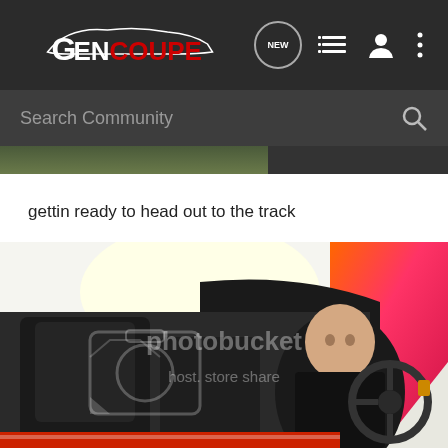GENCOUPE
[Figure (screenshot): GenCoupe community forum mobile app header with logo, NEW chat bubble icon, list icon, user icon, and three-dot menu icon on dark background]
[Figure (screenshot): Search Community bar with magnifying glass icon on dark grey background]
[Figure (photo): Partial top strip of a photo visible above the text]
gettin ready to head out to the track
[Figure (photo): Person sitting in driver seat of a sports car (coupe), wearing black racing suit, looking down, with orange/red/pink exterior visible. Photobucket watermark overlay reads 'photobucket host. store share'. Background shows parking lot with trees and another purple car.]